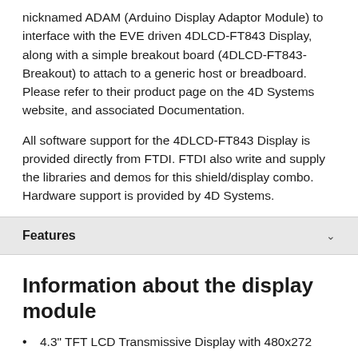nicknamed ADAM (Arduino Display Adaptor Module) to interface with the EVE driven 4DLCD-FT843 Display, along with a simple breakout board (4DLCD-FT843-Breakout) to attach to a generic host or breadboard. Please refer to their product page on the 4D Systems website, and associated Documentation.
All software support for the 4DLCD-FT843 Display is provided directly from FTDI. FTDI also write and supply the libraries and demos for this shield/display combo. Hardware support is provided by 4D Systems.
Features
Information about the display module
4.3" TFT LCD Transmissive Display with 480x272